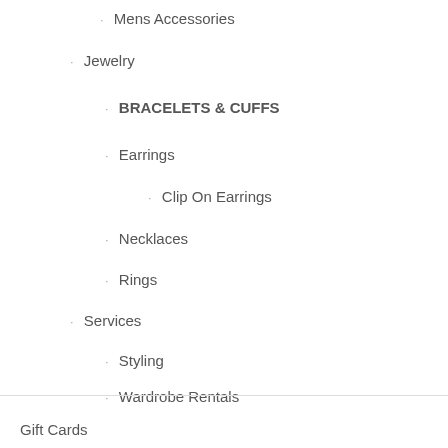Mens Accessories
Jewelry
BRACELETS & CUFFS
Earrings
Clip On Earrings
Necklaces
Rings
Services
Styling
Wardrobe Rentals
Private Parties
Gift Cards